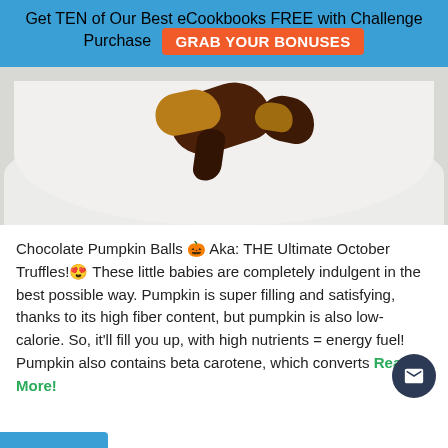Get TEN of Our Best eCookbooks FREE with Challenge Purchase  GRAB YOUR BONUSES
[Figure (photo): Close-up photo of chocolate pumpkin balls/truffles on a white plate — dark chocolate coating with golden filling visible, on a white dish surface]
Chocolate Pumpkin Balls 🎃 Aka: THE Ultimate October Truffles!😍 These little babies are completely indulgent in the best possible way. Pumpkin is super filling and satisfying, thanks to its high fiber content, but pumpkin is also low-calorie. So, it'll fill you up, with high nutrients = energy fuel! Pumpkin also contains beta carotene, which converts Read More!